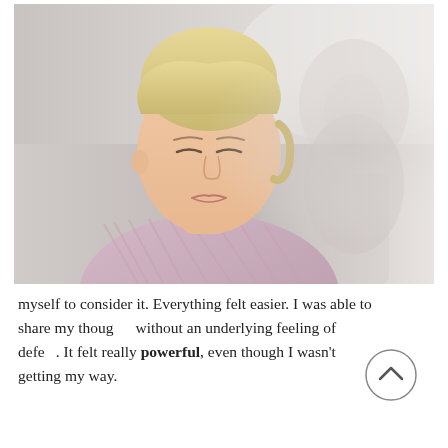[Figure (photo): A blonde woman with her eyes closed, wearing a light purple striped collared shirt, appearing calm and meditative. A blurred second figure is visible in the background to the right.]
myself to consider it. Everything felt easier. I was able to share my thoughts without an underlying feeling of defeat. It felt really powerful, even though I wasn't getting my way.